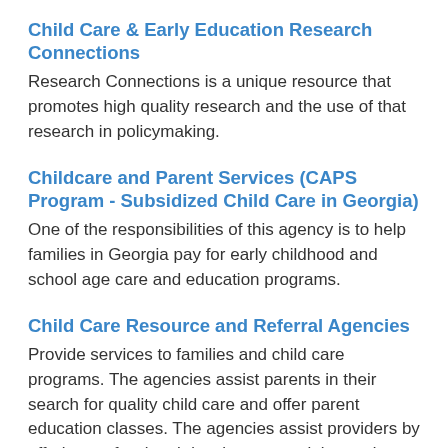Child Care & Early Education Research Connections
Research Connections is a unique resource that promotes high quality research and the use of that research in policymaking.
Childcare and Parent Services (CAPS Program - Subsidized Child Care in Georgia)
One of the responsibilities of this agency is to help families in Georgia pay for early childhood and school age care and education programs.
Child Care Resource and Referral Agencies
Provide services to families and child care programs. The agencies assist parents in their search for quality child care and offer parent education classes. The agencies assist providers by offering professional development training and technical assist…